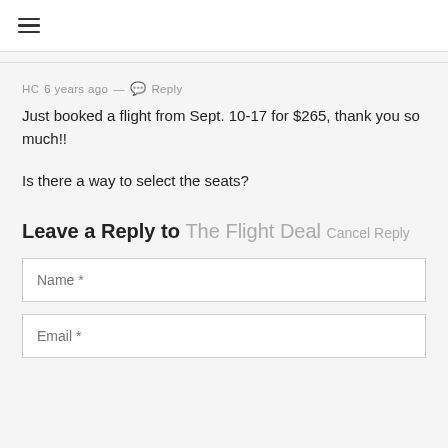≡
HC 6 years ago — 💬 Reply
Just booked a flight from Sept. 10-17 for $265, thank you so much!!
Is there a way to select the seats?
Leave a Reply to The Flight Deal Cancel Reply
Name *
Email *